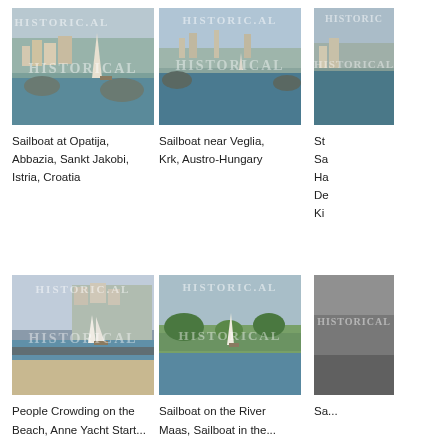[Figure (photo): Historical photo of sailboat at Opatija harbor with watermark HISTORICAL]
[Figure (photo): Historical photo of sailboat near Veglia, Krk with watermark HISTORICAL]
[Figure (photo): Historical photo partially visible, sailboat scene, with watermark HISTORICAL]
Sailboat at Opatija, Abbazia, Sankt Jakobi, Istria, Croatia
Sailboat near Veglia, Krk, Austro-Hungary
St... Sa... Ha... De... Ki...
[Figure (photo): Historical photo of people crowding on the beach, yacht start, with watermark HISTORICAL]
[Figure (photo): Historical photo of sailboat on the river, sailboat in the scene, with watermark HISTORICAL]
[Figure (photo): Historical photo partially visible with watermark HISTORICAL]
People Crowding on the Beach, Anne Yacht Start...
Sailboat on the River Maas, Sailboat in the...
Sa...